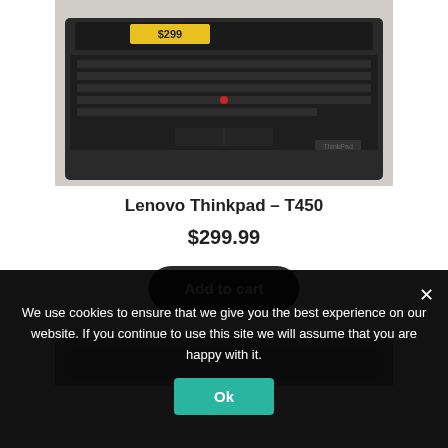[Figure (photo): Photo of a Lenovo Thinkpad T450 laptop open from above showing keyboard and touchpad, with a $299 price tag visible on the screen]
Lenovo Thinkpad – T450
$299.99
Add to cart
[Figure (photo): Bottom portion of a second product photo, partially visible]
We use cookies to ensure that we give you the best experience on our website. If you continue to use this site we will assume that you are happy with it.
Ok